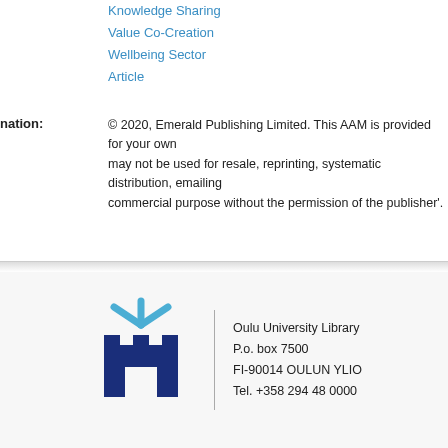Knowledge Sharing
Value Co-Creation
Wellbeing Sector
Article
© 2020, Emerald Publishing Limited. This AAM is provided for your own use only. It may not be used for resale, reprinting, systematic distribution, emailing, or for any other commercial purpose without the permission of the publisher'.
[Figure (logo): Oulu University Library logo — castle/torch emblem in dark blue with light blue rays above, beside text: Oulu University Library, P.o. box 7500, FI-90014 OULUN YLIOPISTO, Tel. +358 294 48 0000]